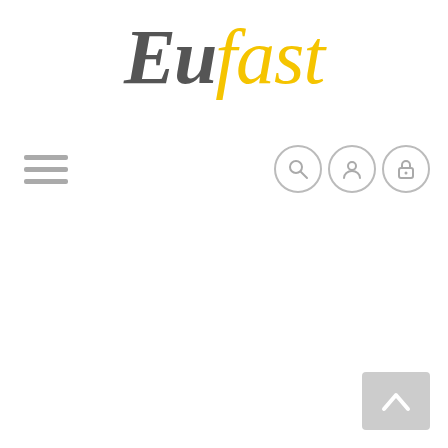[Figure (logo): Eufast logo: 'Eu' in dark grey italic serif font, 'fast' in yellow italic serif font]
[Figure (infographic): Hamburger menu icon (three horizontal grey lines) in top left area, and three circular icon buttons (search, user, lock) in top right area]
[Figure (other): Back to top button: grey rounded rectangle with upward chevron arrow, bottom right corner]